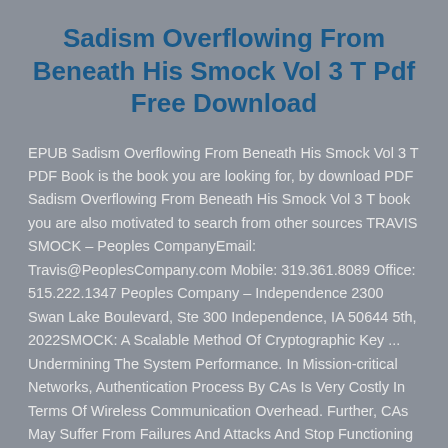Sadism Overflowing From Beneath His Smock Vol 3 T Pdf Free Download
EPUB Sadism Overflowing From Beneath His Smock Vol 3 T PDF Book is the book you are looking for, by download PDF Sadism Overflowing From Beneath His Smock Vol 3 T book you are also motivated to search from other sources TRAVIS SMOCK – Peoples CompanyEmail: Travis@PeoplesCompany.com Mobile: 319.361.8089 Office: 515.222.1347 Peoples Company – Independence 2300 Swan Lake Boulevard, Ste 300 Independence, IA 50644 5th, 2022SMOCK: A Scalable Method Of Cryptographic Key ... Undermining The System Performance. In Mission-critical Networks, Authentication Process By CAs Is Very Costly In Terms Of Wireless Communication Overhead. Further, CAs May Suffer From Failures And Attacks And Stop Functioning 8th, 2022Sadism